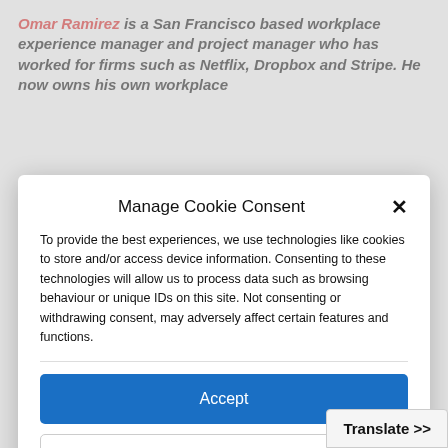Omar Ramirez is a San Francisco based workplace experience manager and project manager who has worked for firms such as Netflix, Dropbox and Stripe. He now owns his own workplace
Manage Cookie Consent
To provide the best experiences, we use technologies like cookies to store and/or access device information. Consenting to these technologies will allow us to process data such as browsing behaviour or unique IDs on this site. Not consenting or withdrawing consent, may adversely affect certain features and functions.
Accept
Deny
View preferences
Cookie Policy  Privacy Policy
Translate >>